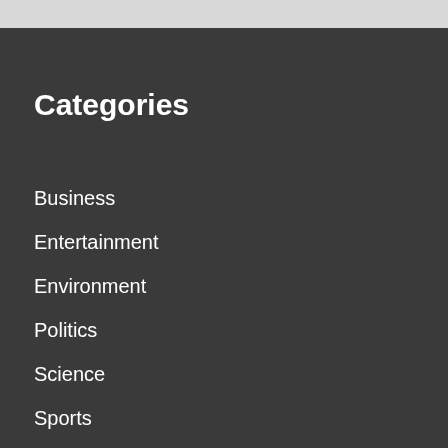Categories
Business
Entertainment
Environment
Politics
Science
Sports
Technology
UK
US